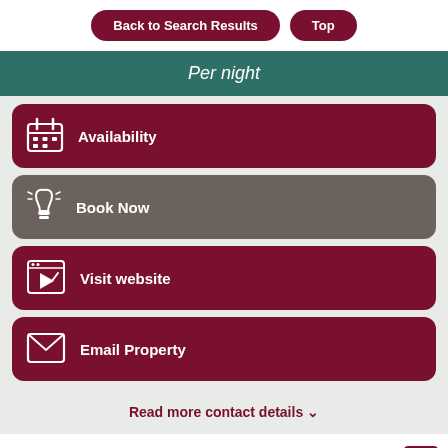Back to Search Results   Top
Per night
Availability
Book Now
Visit website
Email Property
Read more contact details ∨
Peaceful oak-beamed farmhouse B&B, Grade II listed, set in large garden and